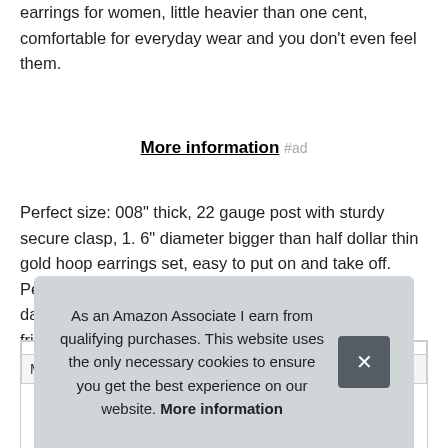earrings for women, little heavier than one cent, comfortable for everyday wear and you don't even feel them.
More information #ad
Perfect size: 008" thick, 22 gauge post with sturdy secure clasp, 1. 6" diameter bigger than half dollar thin gold hoop earrings set, easy to put on and take off. Perfect gift: all gacimy earrings hoops packaged in a dainty gift box, great gift ideal for your family or best friend on Christmas, Mother's Day, birthday parties, anniversary celebration.
| Ma |
As an Amazon Associate I earn from qualifying purchases. This website uses the only necessary cookies to ensure you get the best experience on our website. More information